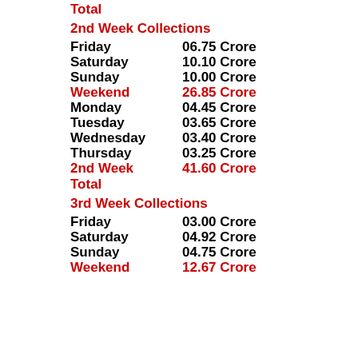Total
2nd Week Collections
Friday    06.75 Crore
Saturday  10.10 Crore
Sunday    10.00 Crore
Weekend   26.85 Crore
Monday    04.45 Crore
Tuesday   03.65 Crore
Wednesday 03.40 Crore
Thursday  03.25 Crore
2nd Week  41.60 Crore
Total
3rd Week Collections
Friday    03.00 Crore
Saturday  04.92 Crore
Sunday    04.75 Crore
Weekend   12.67 Crore